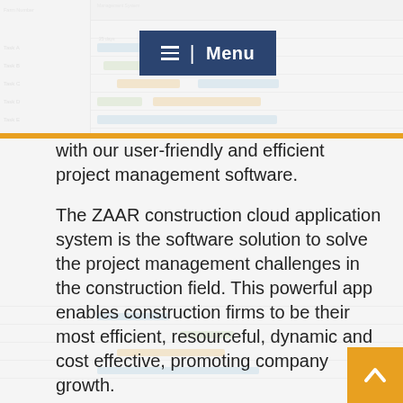[Figure (screenshot): Background screenshot of a project management/Gantt chart software interface]
Menu
with our user-friendly and efficient project management software.
The ZAAR construction cloud application system is the software solution to solve the project management challenges in the construction field. This powerful app enables construction firms to be their most efficient, resourceful, dynamic and cost effective, promoting company growth.
Our Construction Management App allows you to create custom automated work flows which enables your team to provide real-time status of assigned tasks, so that your stake-holders are aware of project progress. Instantaneous access to your data and project status allows for faster decision making, which can keep your project on timeline